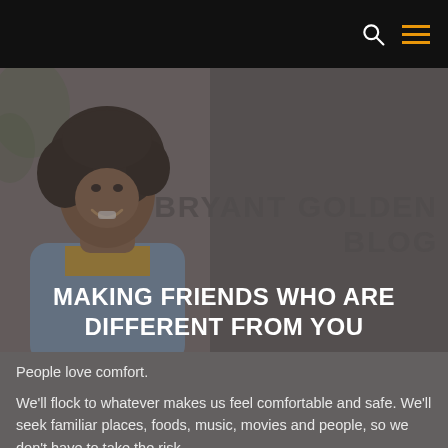[Figure (photo): A smiling Black woman with curly hair wearing a denim jacket and yellow top, photographed outdoors with a blurred background. The image is overlaid with a dark grey semi-transparent overlay. The text 'BRYANT GOLDEN BLOG' appears in large faded uppercase letters and 'MAKING FRIENDS WHO ARE DIFFERENT FROM YOU' appears as the main headline.]
MAKING FRIENDS WHO ARE DIFFERENT FROM YOU
People love comfort.
We'll flock to whatever makes us feel comfortable and safe. We'll seek familiar places, foods, music, movies and people, so we don't have to take the risk